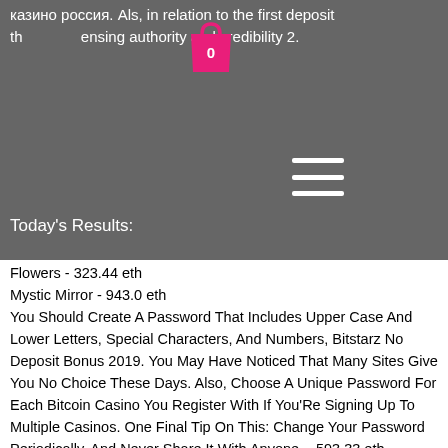казино россия. Als, in relation to the first deposit th[bag icon]ensing authority and credibility 2.
Today's Results:
Flowers - 323.44 eth
Mystic Mirror - 943.0 eth
You Should Create A Password That Includes Upper Case And Lower Letters, Special Characters, And Numbers, Bitstarz No Deposit Bonus 2019. You May Have Noticed That Many Sites Give You No Choice These Days. Also, Choose A Unique Password For Each Bitcoin Casino You Register With If You&#X27;Re Signing Up To Multiple Casinos. One Final Tip On This: Change Your Password Periodically, And Never Share It With Anyone. - 593.33 eth
Cutie Cat - 469.65 trx
Temple Of Luxor - 368.24 doge
Fantasy Fortune - 876.85 xrp